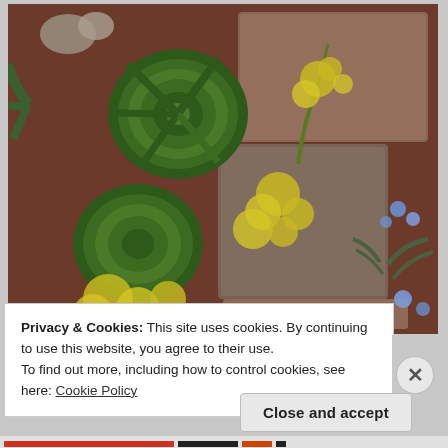[Figure (photo): Aerial view of a succulent garden with green rosette plants, yellow flowering plants, and brown/grey stepping stone pavers set in reddish-brown soil, with blue flowers visible on the right side.]
Privacy & Cookies: This site uses cookies. By continuing to use this website, you agree to their use.
To find out more, including how to control cookies, see here: Cookie Policy
Close and accept